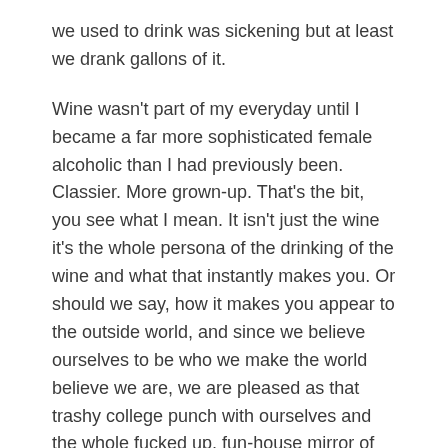we used to drink was sickening but at least we drank gallons of it.
Wine wasn't part of my everyday until I became a far more sophisticated female alcoholic than I had previously been. Classier. More grown-up. That's the bit, you see what I mean. It isn't just the wine it's the whole persona of the drinking of the wine and what that instantly makes you. Or should we say, how it makes you appear to the outside world, and since we believe ourselves to be who we make the world believe we are, we are pleased as that trashy college punch with ourselves and the whole fucked up, fun-house mirror of distortions we have managed to fabricate but believe happens naturally just by holding a glass of this shit. It's impressive in a way. Amusing, even. Our little psycho-delectations.
Watching the waves slam heavy into the shoreline just a